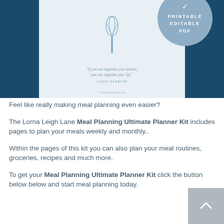[Figure (illustration): A meal planning kit book cover showing a whisk illustration on a light blue background, flanked by dark navy blue panels. A steel-blue circular badge reads PRINTABLE EDITABLE PDF with a checkmark. A quote reads 'If you can organize your kitchen, you can organize your life.' attributed to LOUIS PARRISH.]
Feel like really making meal planning even easier?
The Lorna Leigh Lane Meal Planning Ultimate Planner Kit includes pages to plan your meals weekly and monthly..
Within the pages of this kit you can also plan your meal routines, groceries, recipes and much more.
To get your Meal Planning Ultimate Planner Kit click the button below below and start meal planning today.